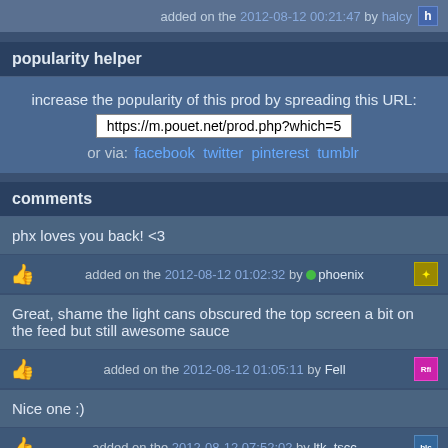added on the 2012-08-12 00:21:47 by halcy
popularity helper
increase the popularity of this prod by spreading this URL: https://m.pouet.net/prod.php?which=5 or via: facebook twitter pinterest tumblr
comments
phx loves you back! <3
added on the 2012-08-12 01:02:32 by phoenix
Great, shame the light cans obscured the top screen a bit on the feed but still awesome sauce
added on the 2012-08-12 01:05:11 by Fell
Nice one :)
added on the 2012-08-12 07:52:02 by ltk_tscc
<3